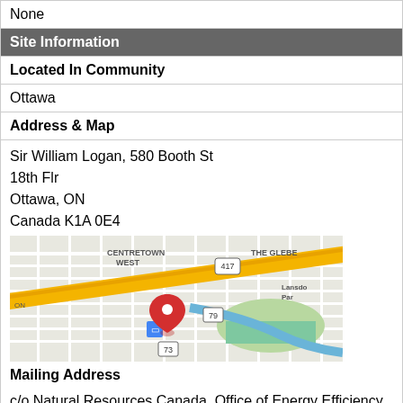None
Site Information
Located In Community
Ottawa
Address & Map
Sir William Logan, 580 Booth St
18th Flr
Ottawa, ON
Canada K1A 0E4
[Figure (map): Google map showing Ottawa area around 580 Booth St, including Centretown West, The Glebe, and Lansdowne Park area with a red pin marker]
Mailing Address
c/o Natural Resources Canada, Office of Energy Efficiency
Rm 180
Ottawa, ON
Canada K1A 0E4
Physical Access